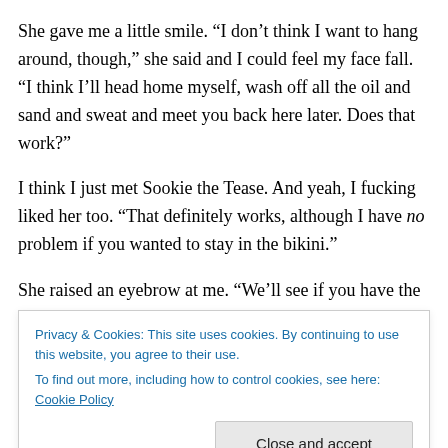She gave me a little smile.  “I don’t think I want to hang around, though,” she said and I could feel my face fall.  “I think I’ll head home myself, wash off all the oil and sand and sweat and meet you back here later.  Does that work?”
I think I just met Sookie the Tease.  And yeah, I fucking liked her too.  “That definitely works, although I have no problem if you wanted to stay in the bikini.”
She raised an eyebrow at me.  “We’ll see if you have the
Privacy & Cookies: This site uses cookies. By continuing to use this website, you agree to their use.
To find out more, including how to control cookies, see here: Cookie Policy
and smiled as I realigned my eyes with her face.  “So we’ll